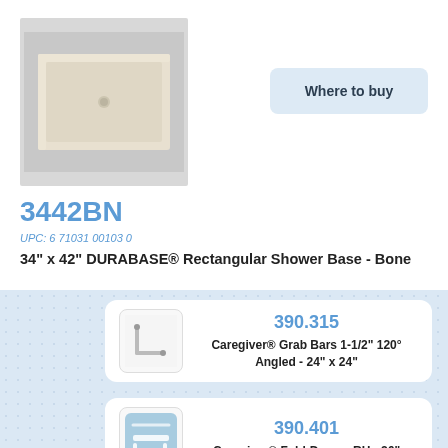[Figure (photo): Cream/bone colored rectangular shower base product photo on gray background]
Where to buy
3442BN
UPC: 6 71031 00103 0
34" x 42" DURABASE® Rectangular Shower Base - Bone
[Figure (photo): Caregiver grab bar 120 degree angled illustration]
390.315
Caregiver® Grab Bars 1-1/2" 120° Angled - 24" x 24"
[Figure (photo): Caregiver fold-down bench product photo]
390.401
Caregiver® Fold-Down - RH - 26"